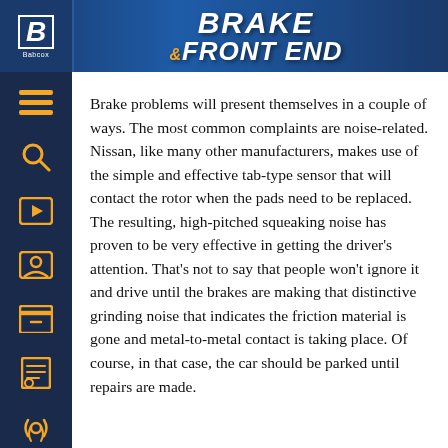BRAKE & FRONT END
Brake problems will present themselves in a couple of ways. The most common complaints are noise-related. Nissan, like many other manufacturers, makes use of the simple and effective tab-type sensor that will contact the rotor when the pads need to be replaced. The resulting, high-pitched squeaking noise has proven to be very effective in getting the driver’s attention. That’s not to say that people won’t ignore it and drive until the brakes are making that distinctive grinding noise that indicates the friction material is gone and metal-to-metal contact is taking place. Of course, in that case, the car should be parked until repairs are made.